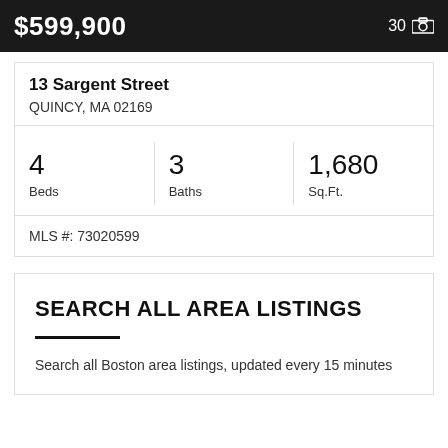$599,900
30
13 Sargent Street
QUINCY, MA 02169
| 4
Beds | 3
Baths | 1,680
Sq.Ft. |
MLS #: 73020599
SEARCH ALL AREA LISTINGS
Search all Boston area listings, updated every 15 minutes